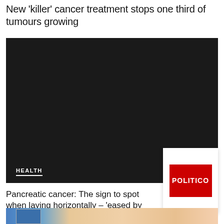New 'killer' cancer treatment stops one third of tumours growing
[Figure (photo): Dark/black video player embed area with HEALTH label and white underline at bottom left]
[Figure (logo): POLITICO logo: white rectangle with red square containing white POLITICO text]
Pancreatic cancer: The sign to spot when lying horizontally – 'eased by sitting forward'
[Figure (photo): Partial photo strip at bottom showing a person with blonde hair in a blue top]